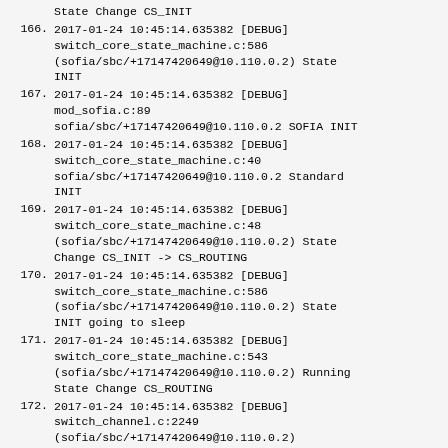State Change CS_INIT
166. 2017-01-24 10:45:14.635382 [DEBUG] switch_core_state_machine.c:586 (sofia/sbc/+17147420649@10.110.0.2) State INIT
167. 2017-01-24 10:45:14.635382 [DEBUG] mod_sofia.c:89 sofia/sbc/+17147420649@10.110.0.2 SOFIA INIT
168. 2017-01-24 10:45:14.635382 [DEBUG] switch_core_state_machine.c:40 sofia/sbc/+17147420649@10.110.0.2 Standard INIT
169. 2017-01-24 10:45:14.635382 [DEBUG] switch_core_state_machine.c:48 (sofia/sbc/+17147420649@10.110.0.2) State Change CS_INIT -> CS_ROUTING
170. 2017-01-24 10:45:14.635382 [DEBUG] switch_core_state_machine.c:586 (sofia/sbc/+17147420649@10.110.0.2) State INIT going to sleep
171. 2017-01-24 10:45:14.635382 [DEBUG] switch_core_state_machine.c:543 (sofia/sbc/+17147420649@10.110.0.2) Running State Change CS_ROUTING
172. 2017-01-24 10:45:14.635382 [DEBUG] switch_channel.c:2249 (sofia/sbc/+17147420649@10.110.0.2) Callstate Change DOWN -> RINGING
173. 2017-01-24 10:45:14.635382 [DEBUG]